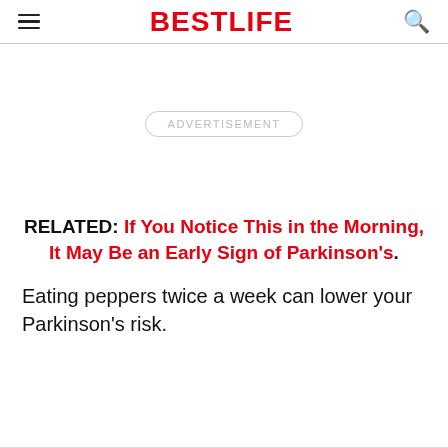BESTLIFE
[Figure (other): Advertisement placeholder box with the text ADVERTISEMENT inside a rounded rectangle]
RELATED: If You Notice This in the Morning, It May Be an Early Sign of Parkinson's.
Eating peppers twice a week can lower your Parkinson's risk.